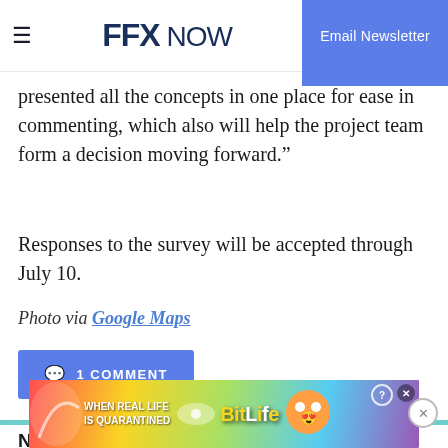FFX NOW | Email Newsletter
presented all the concepts in one place for ease in commenting, which also will help the project team form a decision moving forward."
Responses to the survey will be accepted through July 10.
Photo via Google Maps
1 COMMENT
NEWS
Congested McLean intersection up for r…
[Figure (other): Advertisement banner: BitLife game ad with rainbow background and text 'WHEN REAL LIFE IS QUARANTINED']